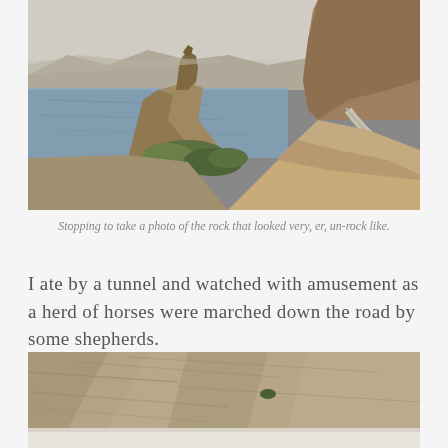[Figure (photo): Landscape photo showing rocky desert terrain with a distinctive rock formation shaped like a figure, a calm river or lake, sparse green vegetation, a winding road along the cliffs, and a large rocky mesa/butte in the background under a hazy sky.]
Stopping to take a photo of the rock that looked very, er, un-rock like.
I ate by a tunnel and watched with amusement as a herd of horses were marched down the road by some shepherds.
[Figure (photo): Partial photo showing dry, eroded hillside terrain with sandy brown and grey tones, sparse green shrub visible, and a white structure or road visible at bottom edge.]